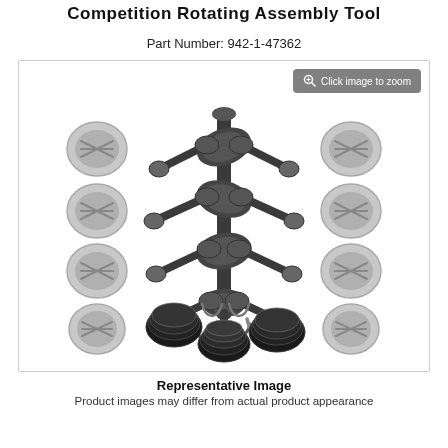Competition Rotating Assembly Tool
Part Number: 942-1-47362
[Figure (photo): Engine rotating assembly kit showing crankshaft, connecting rods, pistons, bearings, and piston rings laid out on white background. Includes zoom badge overlay reading 'Click image to zoom'.]
Representative Image
Product images may differ from actual product appearance